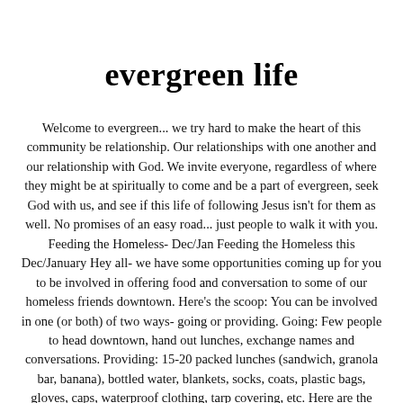evergreen life
Welcome to evergreen... we try hard to make the heart of this community be relationship. Our relationships with one another and our relationship with God. We invite everyone, regardless of where they might be at spiritually to come and be a part of evergreen, seek God with us, and see if this life of following Jesus isn't for them as well. No promises of an easy road... just people to walk it with you. Feeding the Homeless- Dec/Jan Feeding the Homeless this Dec/January Hey all- we have some opportunities coming up for you to be involved in offering food and conversation to some of our homeless friends downtown. Here's the scoop: You can be involved in one (or both) of two ways- going or providing. Going: Few people to head downtown, hand out lunches, exchange names and conversations. Providing: 15-20 packed lunches (sandwich, granola bar, banana), bottled water, blankets, socks, coats, plastic bags, gloves, caps, waterproof clothing, tarp covering, etc. Here are the dates for Dec/Jan- Dec 17th Jan 7th Jan 21st To be